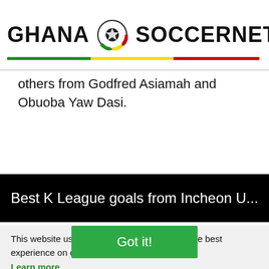GHANA SOCCERNET MENU
others from Godfred Asiamah and Obuoba Yaw Dasi.
[Figure (screenshot): Video thumbnail with black background showing text: Best K League goals from Incheon U...]
This website uses cookies to ensure you get the best experience on our website. Learn more
Got it!